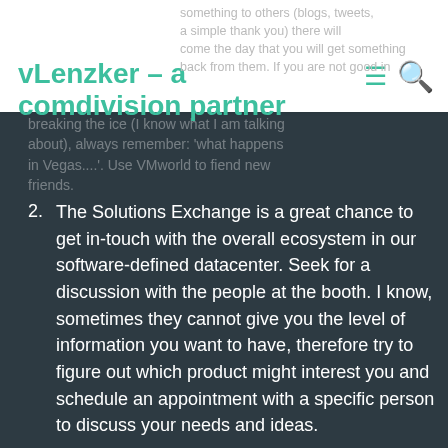vLenzker – a comdivision partner
something to others (blogs, tweets, a simple thank you) there will come the day that you will get something back from them. If you are not good in breaking the ice (I know what I am talking about), always remember: 'what happens in Vegas....'. Use VMworld to fiend new friends.
2. The Solutions Exchange is a great chance to get in-touch with the overall ecosystem in our software-defined datacenter. Seek for a discussion with the people at the booth. I know, sometimes they cannot give you the level of information you want to have, therefore try to figure out which product might interest you and schedule an appointment with a specific person to discuss your needs and ideas.